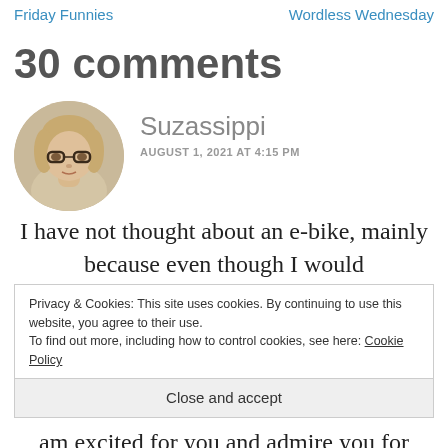Friday Funnies   Wordless Wednesday
30 comments
[Figure (photo): Circular avatar photo of a woman with blonde hair and glasses]
Suzassippi
AUGUST 1, 2021 AT 4:15 PM
I have not thought about an e-bike, mainly because even though I would
Privacy & Cookies: This site uses cookies. By continuing to use this website, you agree to their use.
To find out more, including how to control cookies, see here: Cookie Policy
Close and accept
am excited for you and admire you for